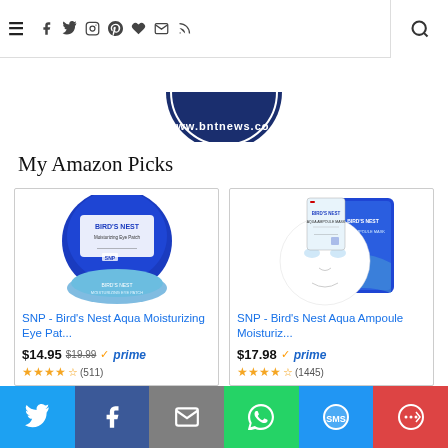≡  f  t  instagram  pinterest  ♥  mail  rss  🔍
[Figure (logo): BNT News circular logo, dark navy blue with white text www.bntnews.co.u(k)]
My Amazon Picks
[Figure (photo): SNP Bird's Nest Moisturizing Eye Patch product in blue circular tin container]
SNP - Bird's Nest Aqua Moisturizing Eye Pat...
$14.95  $19.99  ✓prime
★★★★☆ (511)
[Figure (photo): SNP Bird's Nest Aqua Ampoule sheet mask product in blue packaging]
SNP - Bird's Nest Aqua Ampoule Moisturiz...
$17.98  ✓prime
★★★★☆ (1445)
Twitter  Facebook  Email  WhatsApp  SMS  More